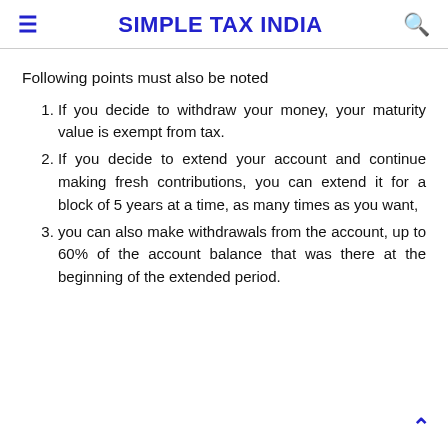SIMPLE TAX INDIA
Following points must also be noted
If you decide to withdraw your money, your maturity value is exempt from tax.
If you decide to extend your account and continue making fresh contributions, you can extend it for a block of 5 years at a time, as many times as you want,
you can also make withdrawals from the account, up to 60% of the account balance that was there at the beginning of the extended period.